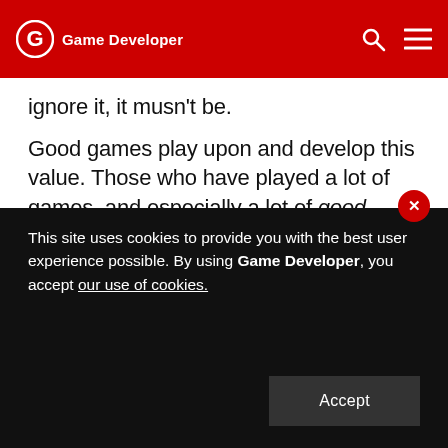Game Developer
ignore it, it musn't be.
Good games play upon and develop this value. Those who have played a lot of games, and especially a lot of good games, have this sense of value honed to a razor's edge. That is why players will react immediately and passionately to any change that they feel does even subtle violence to the integrity of game achievement. Such changes threaten to undermine the meaning of their entire experience.
This site uses cookies to provide you with the best user experience possible. By using Game Developer, you accept our use of cookies.